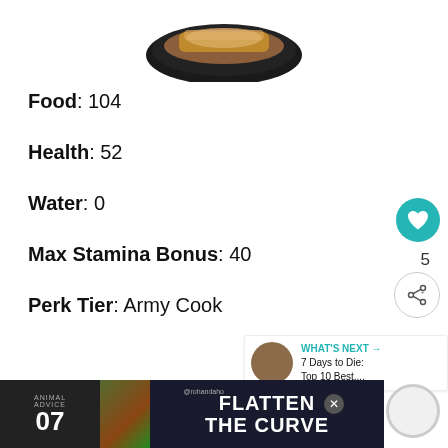[Figure (photo): Food item on a dark plate, viewed from above, partial image cut at top]
Food: 104
Health: 52
Water: 0
Max Stamina Bonus: 40
Perk Tier: Army Cook
[Figure (screenshot): WHAT'S NEXT arrow label with thumbnail and text: 7 Days to Die: Top 10 Best....]
[Figure (screenshot): Advertisement banner: ANIMAL ADVICE 07, FLATTEN THE CURVE, @rohandahot]